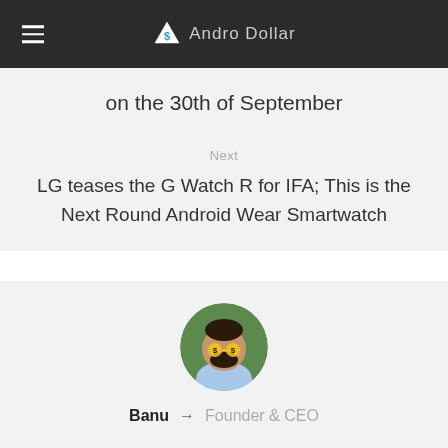Andro Dollar
on the 30th of September
Next
LG teases the G Watch R for IFA; This is the Next Round Android Wear Smartwatch
[Figure (photo): Circular profile photo of a man with a beard wearing dollar-sign glasses and a light blue shirt, looking upward, set against a green outdoor background.]
Banu → Founder & CEO